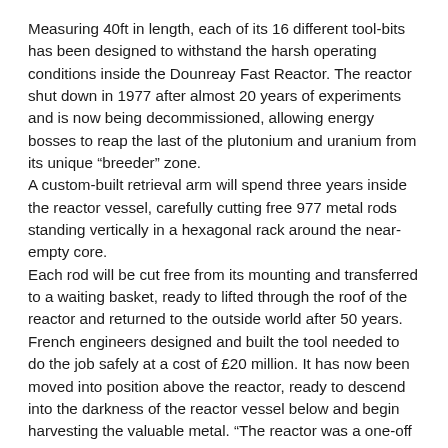Measuring 40ft in length, each of its 16 different tool-bits has been designed to withstand the harsh operating conditions inside the Dounreay Fast Reactor. The reactor shut down in 1977 after almost 20 years of experiments and is now being decommissioned, allowing energy bosses to reap the last of the plutonium and uranium from its unique “breeder” zone. A custom-built retrieval arm will spend three years inside the reactor vessel, carefully cutting free 977 metal rods standing vertically in a hexagonal rack around the near-empty core. Each rod will be cut free from its mounting and transferred to a waiting basket, ready to lifted through the roof of the reactor and returned to the outside world after 50 years. French engineers designed and built the tool needed to do the job safely at a cost of £20 million. It has now been moved into position above the reactor, ready to descend into the darkness of the reactor vessel below and begin harvesting the valuable metal. “The reactor was a one-off design and so is the tool we need to take out the breeder rods,” said Alex Potts, the engineer in charge of the project at Dounreay Site Restoration Ltd. “It’s too toxic in there for anyone to do the job manually – the radiation levels are still very high and the residual traces of liquid metal coolant add to the hazard – so we need a tool capable of doing the job by